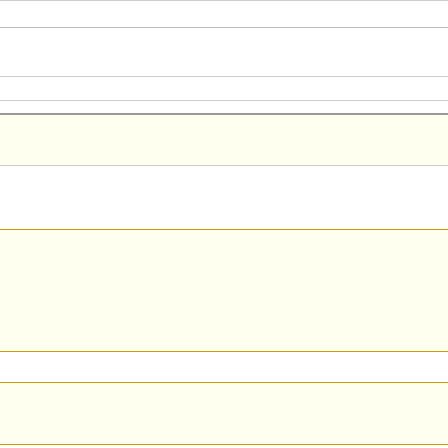plaintiffs, Students for Fa...
"To see what is in front of... constant struggle." - Geo...
Top
Re: Ivy League Admissions. #2... [Re: Bostonian]
indigo
Member
Registered: 04/27/13
Posts: 4912
The website of Students fo... mentions Title VI of the Ci...
This brings to mind two re...
Originally Posted By: NY... (Texas case)
... the ruling's basic m... admissions officials m... consider race as one... many in ensuring a d... body.
Originally Posted By: Co... (Michigan case)
Equal Protection Cla...